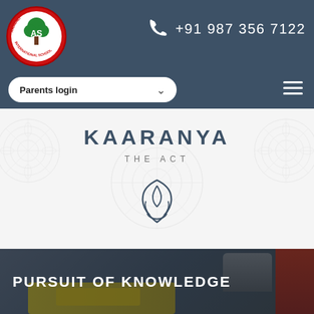Aravali International School — +91 987 356 7122
Parents login
[Figure (logo): Aravali International School circular red logo with tree and 'AS' initials]
KAARANYA THE ACT
[Figure (illustration): Two hands forming a cup shape (praying/cupping hands) icon below KAARANYA THE ACT text]
PURSUIT OF KNOWLEDGE